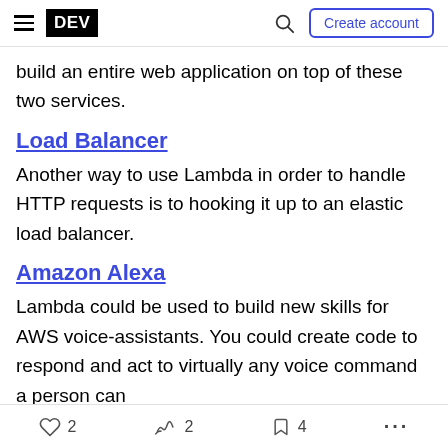DEV | Create account
build an entire web application on top of these two services.
Load Balancer
Another way to use Lambda in order to handle HTTP requests is to hooking it up to an elastic load balancer.
Amazon Alexa
Lambda could be used to build new skills for AWS voice-assistants. You could create code to respond and act to virtually any voice command a person can
2  2  4  ...